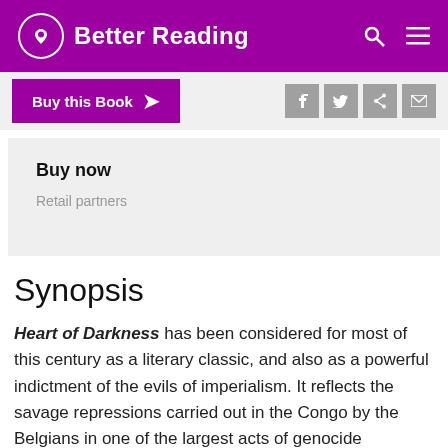Better Reading
Buy this Book
Buy now
Retail partners
Synopsis
Heart of Darkness has been considered for most of this century as a literary classic, and also as a powerful indictment of the evils of imperialism. It reflects the savage repressions carried out in the Congo by the Belgians in one of the largest acts of genocide committed